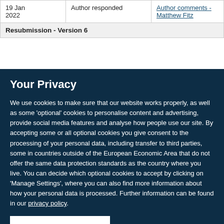| Date | Status | Link |
| --- | --- | --- |
| 19 Jan 2022 | Author responded | Author comments - Matthew Fitz |
| Resubmission - Version 6 |  |  |
Your Privacy
We use cookies to make sure that our website works properly, as well as some 'optional' cookies to personalise content and advertising, provide social media features and analyse how people use our site. By accepting some or all optional cookies you give consent to the processing of your personal data, including transfer to third parties, some in countries outside of the European Economic Area that do not offer the same data protection standards as the country where you live. You can decide which optional cookies to accept by clicking on 'Manage Settings', where you can also find more information about how your personal data is processed. Further information can be found in our privacy policy.
Accept all cookies
Manage preferences